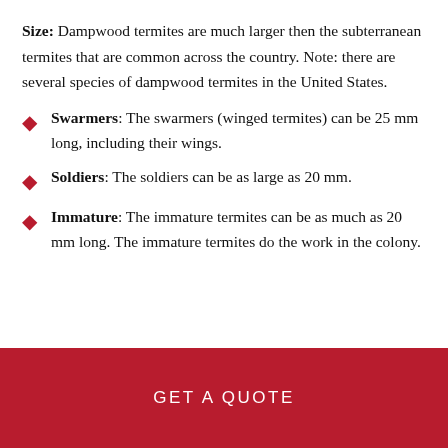Size: Dampwood termites are much larger then the subterranean termites that are common across the country. Note: there are several species of dampwood termites in the United States.
Swarmers: The swarmers (winged termites) can be 25 mm long, including their wings.
Soldiers: The soldiers can be as large as 20 mm.
Immature: The immature termites can be as much as 20 mm long. The immature termites do the work in the colony.
GET A QUOTE